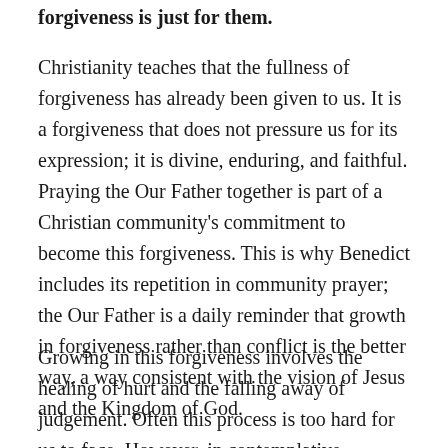forgiveness is just for them.
Christianity teaches that the fullness of forgiveness has already been given to us. It is a forgiveness that does not pressure us for its expression; it is divine, enduring, and faithful. Praying the Our Father together is part of a Christian community's commitment to become this forgiveness. This is why Benedict includes its repetition in community prayer; the Our Father is a daily reminder that growth in forgiveness rather than conflict is the better way, a way consistent with the vision of Jesus and the Kingdom of God.
Growing in this forgiveness involves the healing of hurt and the falling away of judgement. Often this process is too hard for us to face. However, in contemplative prayer the vision we hold of salvation is of a world free